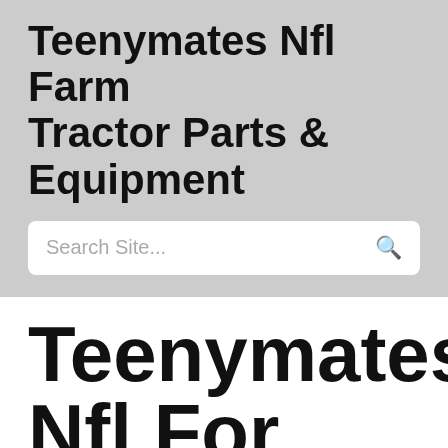Teenymates Nfl Farm Tractor Parts & Equipment
Search Site...
Teenymates Nfl For Sale